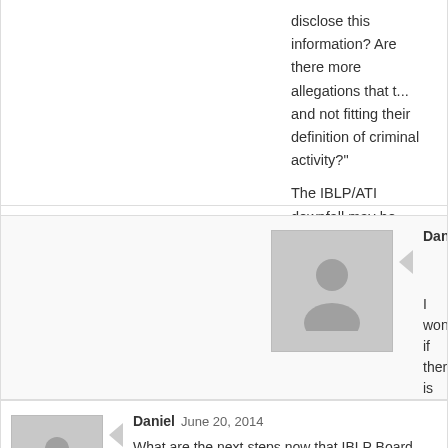disclose this information? Are there more allegations that t... and not fitting their definition of criminal activity?"

The IBLP/ATI downfall may be accelerated by a criminal inv... failure to report laws. Kind of reminds me of how the RICO investigation of the mafia, leading to many prosecutions.

Again, RG, thank you so much for your excellent response!
Daniel June 20, 2014
I wonder if there is a whistleblower case? information on the payroll issues...
http://www.hornsbylaw.com/irs-whistleblo...
Daniel June 20, 2014
What are the next steps now that IBLP Board has indicated... making hard choices?